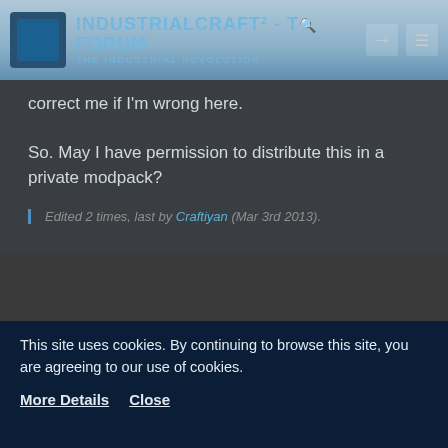IndustrialCraft² - The Forum · The Industrial Revolution
correct me if I'm wrong here.

So. May I have permission to distribute this in a private modpack?
Edited 2 times, last by Craftiyan (Mar 3rd 2013).
DrCeph
Tree Cutter
Mar 3rd 2013
This site uses cookies. By continuing to browse this site, you are agreeing to our use of cookies.
More Details   Close